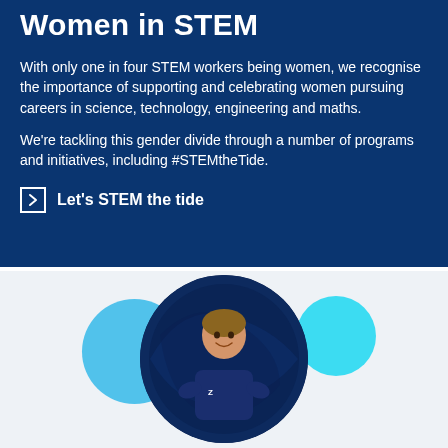Women in STEM
With only one in four STEM workers being women, we recognise the importance of supporting and celebrating women pursuing careers in science, technology, engineering and maths.
We're tackling this gender divide through a number of programs and initiatives, including #STEMtheTide.
Let's STEM the tide
[Figure (photo): A smiling man in a navy blue t-shirt inside a circular frame with blue decorative circles on either side, against a light grey background.]